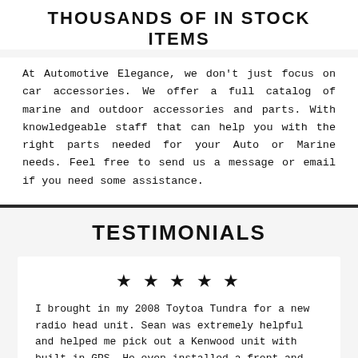THOUSANDS OF IN STOCK ITEMS
At Automotive Elegance, we don't just focus on car accessories. We offer a full catalog of marine and outdoor accessories and parts. With knowledgeable staff that can help you with the right parts needed for your Auto or Marine needs. Feel free to send us a message or email if you need some assistance.
TESTIMONIALS
★ ★ ★ ★ ★
I brought in my 2008 Toytoa Tundra for a new radio head unit. Sean was extrem... and helped me pick out a Kenwoo... in GPS. He even installed a front and rear camera set up which makes parking my truck so much